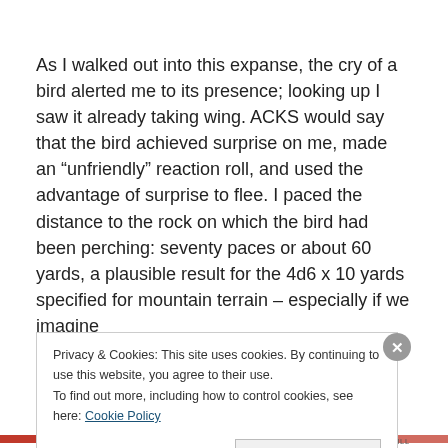As I walked out into this expanse, the cry of a bird alerted me to its presence; looking up I saw it already taking wing. ACKS would say that the bird achieved surprise on me, made an "unfriendly" reaction roll, and used the advantage of surprise to flee. I paced the distance to the rock on which the bird had been perching: seventy paces or about 60 yards, a plausible result for the 4d6 x 10 yards specified for mountain terrain – especially if we imagine
Privacy & Cookies: This site uses cookies. By continuing to use this website, you agree to their use.
To find out more, including how to control cookies, see here: Cookie Policy
Close and accept
BROOK HILL